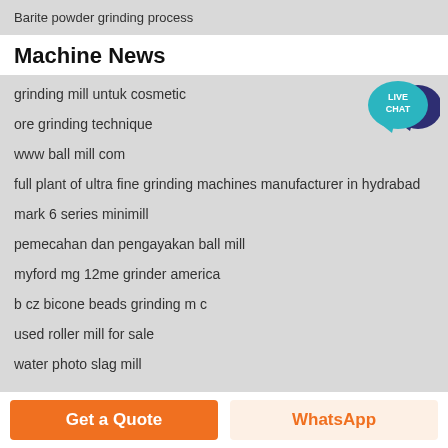Barite powder grinding process
Machine News
grinding mill untuk cosmetic
ore grinding technique
www ball mill com
full plant of ultra fine grinding machines manufacturer in hydrabad
mark 6 series minimill
pemecahan dan pengayakan ball mill
myford mg 12me grinder america
b cz bicone beads grinding m c
used roller mill for sale
water photo slag mill
[Figure (illustration): Live Chat speech bubble icon in teal/dark blue]
Get a Quote
WhatsApp